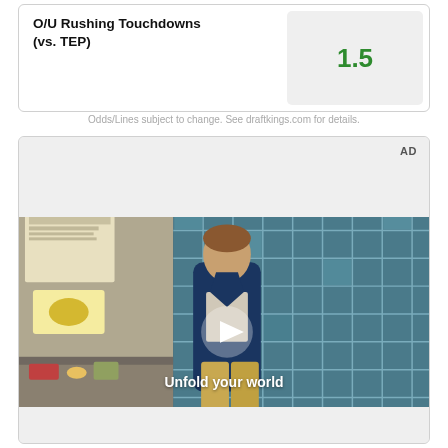| Bet | Line |
| --- | --- |
| O/U Rushing Touchdowns (vs. TEP) | 1.5 |
Odds/Lines subject to change. See draftkings.com for details.
[Figure (screenshot): AD video player showing a young man walking in a restaurant/store setting with large blue tile windows in the background. A play button overlay is visible in the center. Text reads 'Unfold your world'. Top-right corner shows 'AD' label.]